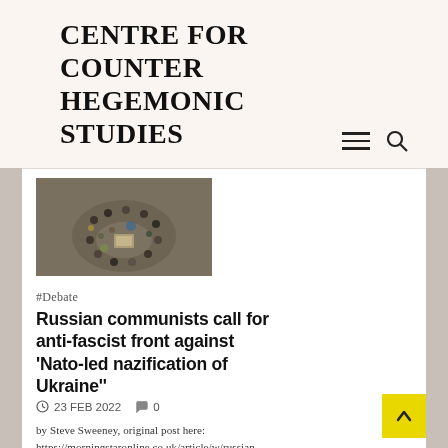CENTRE FOR COUNTER HEGEMONIC STUDIES
[Figure (photo): Aerial/overhead view of a crowd of people gathered in a loose circle outdoors on a grey ground surface]
#Debate
Russian communists call for anti-fascist front against 'Nato-led nazification of Ukraine''
🕐 23 FEB 2022  💬 0
by Steve Sweeney, original post here: https://morningstaronline.co.uk/article/w/russian-communists-call-anti-fascist-front-against-nato